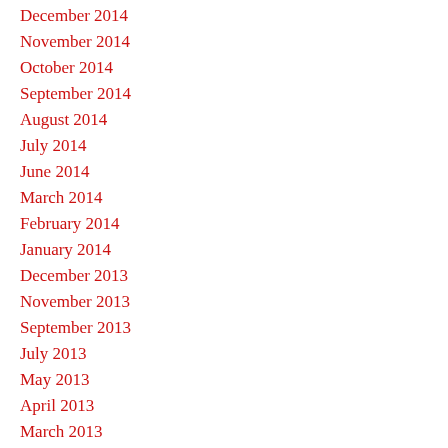December 2014
November 2014
October 2014
September 2014
August 2014
July 2014
June 2014
March 2014
February 2014
January 2014
December 2013
November 2013
September 2013
July 2013
May 2013
April 2013
March 2013